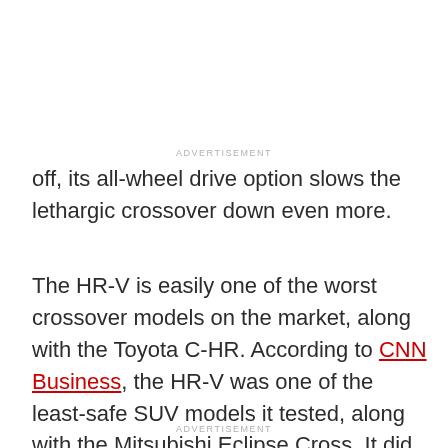ADVERTISEMENT
off, its all-wheel drive option slows the lethargic crossover down even more.
The HR-V is easily one of the worst crossover models on the market, along with the Toyota C-HR. According to CNN Business, the HR-V was one of the least-safe SUV models it tested, along with the Mitsubishi Eclipse Cross. It did especially poorly in side-impact crash tests.
ADVERTISEMENT